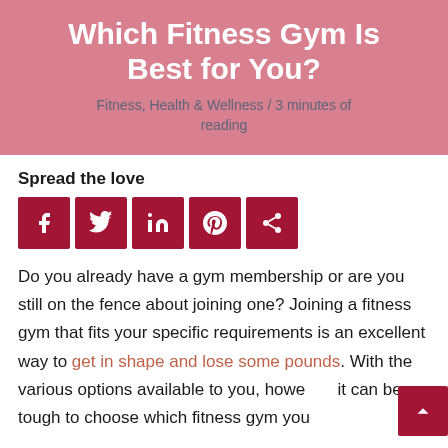Which Fitness Gym Is Best for You?
Fitness, Health & Wellness / 3 minutes of reading
Spread the love
[Figure (infographic): Social sharing icons: Facebook, Twitter, LinkedIn, Pinterest, Share — dark red square buttons with white icons]
Do you already have a gym membership or are you still on the fence about joining one? Joining a fitness gym that fits your specific requirements is an excellent way to get in shape and lose some pounds. With the various options available to you, however, it can be tough to choose which fitness gym you